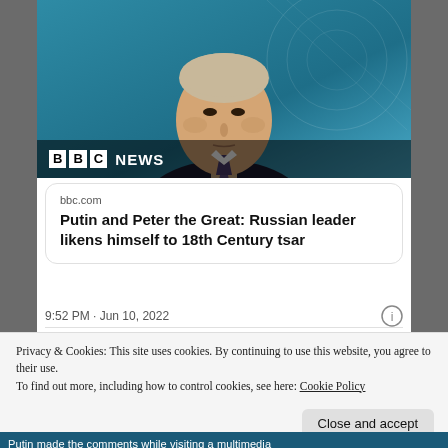[Figure (photo): Photo of Vladimir Putin against a blue background with BBC News logo overlay at bottom]
bbc.com
Putin and Peter the Great: Russian leader likens himself to 18th Century tsar
9:52 PM · Jun 10, 2022
Privacy & Cookies: This site uses cookies. By continuing to use this website, you agree to their use.
To find out more, including how to control cookies, see here: Cookie Policy
Close and accept
Putin made the comments while visiting a multimedia